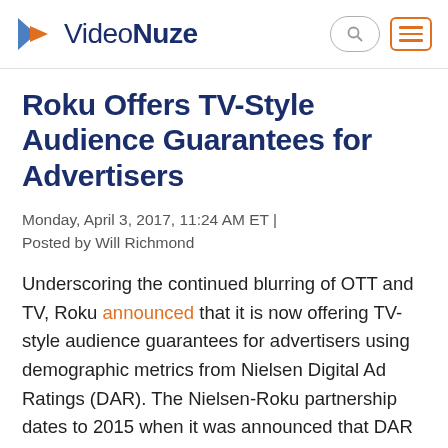VideoNuze
Roku Offers TV-Style Audience Guarantees for Advertisers
Monday, April 3, 2017, 11:24 AM ET | Posted by Will Richmond
Underscoring the continued blurring of OTT and TV, Roku announced that it is now offering TV-style audience guarantees for advertisers using demographic metrics from Nielsen Digital Ad Ratings (DAR). The Nielsen-Roku partnership dates to 2015 when it was announced that DAR would be integrated with Roku's ad SDK.